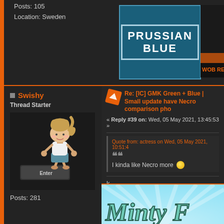Posts: 105
Location: Sweden
[Figure (logo): Prussian Blue keycap set logo - teal/blue square with geometric blocky text reading PRUSSIAN BLUE]
[Figure (photo): WOB Red keyboard/keyset photo partially visible on right]
Swishy
Thread Starter
[Figure (illustration): Anime-style chibi character pushing an Enter key]
Posts: 281
Re: [IC] GMK Green + Blue | Small update have Necro comparison pho
« Reply #39 on: Wed, 05 May 2021, 13:45:53 »
Quote from: actress on Wed, 05 May 2021, 10:51:4
I kinda like Necro more 🟡
k
[Figure (logo): Minty keyset logo - retro style text 'Minty F' in teal on light blue sunburst background, partially cut off]